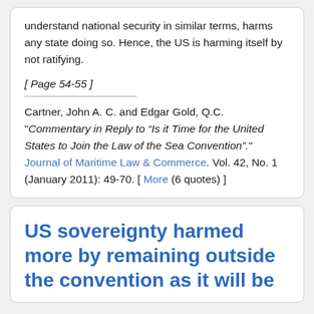understand national security in similar terms, harms any state doing so. Hence, the US is harming itself by not ratifying.
[ Page 54-55 ]
Cartner, John A. C. and Edgar Gold, Q.C. "Commentary in Reply to “Is it Time for the United States to Join the Law of the Sea Convention”." Journal of Maritime Law & Commerce. Vol. 42, No. 1 (January 2011): 49-70. [ More (6 quotes) ]
US sovereignty harmed more by remaining outside the convention as it will be